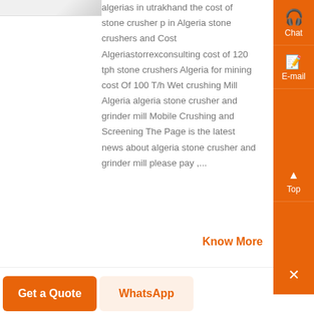[Figure (photo): Partial image of stone crusher equipment visible in upper left corner]
algerias in utrakhand the cost of stone crusher p in Algeria stone crushers and Cost Algeriastorrexconsulting cost of 120 tph stone crushers Algeria for mining cost Of 100 T/h Wet crushing Mill Algeria algeria stone crusher and grinder mill Mobile Crushing and Screening The Page is the latest news about algeria stone crusher and grinder mill please pay ....
Know More
Chat
E-mail
Top
Get a Quote
WhatsApp